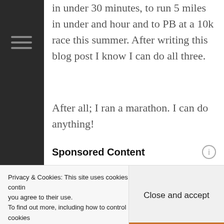in under 30 minutes, to run 5 miles in under and hour and to PB at a 10k race this summer. After writing this blog post I know I can do all three.
After all; I ran a marathon. I can do anything!
Sponsored Content
[Figure (photo): Hands exchanging US dollar bills, money/cash photo for business loan advertisement]
Americans May Get Small Business Loans Approved Regardless of Credit
Business Loans | Search Ads
Privacy & Cookies: This site uses cookies. By contin... you agree to their use. To find out more, including how to control cookies...
Close and accept